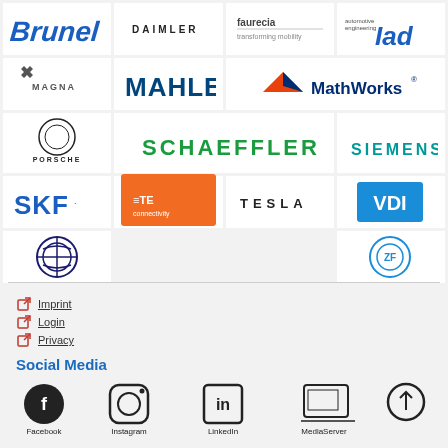[Figure (logo): Brunel logo]
[Figure (logo): Daimler logo]
[Figure (logo): Faurecia logo]
[Figure (logo): IAD automotive engineering logo]
[Figure (logo): Magna logo]
[Figure (logo): MAHLE logo]
[Figure (logo): MathWorks logo]
[Figure (logo): Porsche logo]
[Figure (logo): Schaeffler logo]
[Figure (logo): Siemens logo]
[Figure (logo): SKF logo]
[Figure (logo): TE Connectivity logo]
[Figure (logo): Tesla logo]
[Figure (logo): VDI logo]
[Figure (logo): VW Volkswagen logo]
[Figure (logo): ZF logo]
Imprint
Login
Privacy
Social Media
[Figure (illustration): Social media icons: Facebook, Instagram, LinkedIn, MediaServer, and share icon]
Facebook  Instagram  LinkedIn  MediaServer